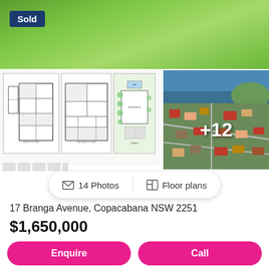[Figure (photo): Aerial/hero photo of green grass lawn, top of page]
Sold
[Figure (photo): Floor plan thumbnails: two architectural floor plan drawings and one site/landscape plan in green]
[Figure (photo): Aerial photograph of Copacabana suburb with ocean in background, showing +12 overlay]
14 Photos
Floor plans
17 Branga Avenue, Copacabana NSW 2251
$1,650,000
5  2  2  462m²
House  •  Sold on Sat 7 May, 2022
Enquire
Call